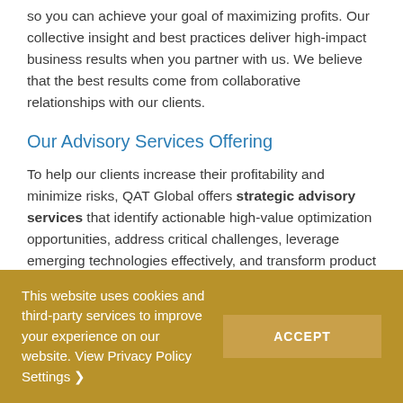so you can achieve your goal of maximizing profits. Our collective insight and best practices deliver high-impact business results when you partner with us. We believe that the best results come from collaborative relationships with our clients.
Our Advisory Services Offering
To help our clients increase their profitability and minimize risks, QAT Global offers strategic advisory services that identify actionable high-value optimization opportunities, address critical challenges, leverage emerging technologies effectively, and transform product and business operations. Our advisory services offering takes a “business
This website uses cookies and third-party services to improve your experience on our website. View Privacy Policy Settings ❯